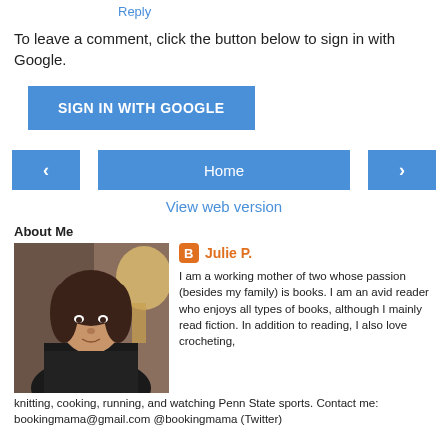Reply
To leave a comment, click the button below to sign in with Google.
[Figure (other): SIGN IN WITH GOOGLE button (blue rectangle)]
[Figure (other): Navigation bar with left arrow, Home button, and right arrow]
View web version
About Me
[Figure (photo): Profile photo of Julie P., a woman with dark hair wearing a dark top]
Julie P.
I am a working mother of two whose passion (besides my family) is books. I am an avid reader who enjoys all types of books, although I mainly read fiction. In addition to reading, I also love crocheting, knitting, cooking, running, and watching Penn State sports. Contact me: bookingmama@gmail.com @bookingmama (Twitter)